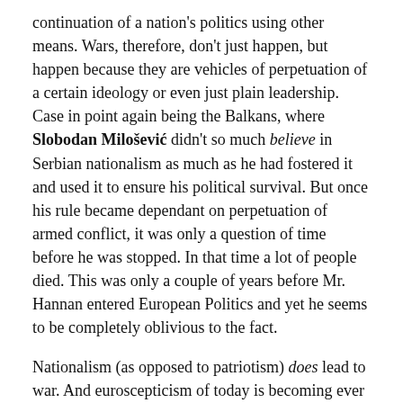continuation of a nation's politics using other means. Wars, therefore, don't just happen, but happen because they are vehicles of perpetuation of a certain ideology or even just plain leadership. Case in point again being the Balkans, where Slobodan Milošević didn't so much believe in Serbian nationalism as much as he had fostered it and used it to ensure his political survival. But once his rule became dependant on perpetuation of armed conflict, it was only a question of time before he was stopped. In that time a lot of people died. This was only a couple of years before Mr. Hannan entered European Politics and yet he seems to be completely oblivious to the fact.
Nationalism (as opposed to patriotism) does lead to war. And euroscepticism of today is becoming ever more nationalistic. Daniel Hannan may not recognise this, but as the rhetoric of the extreme